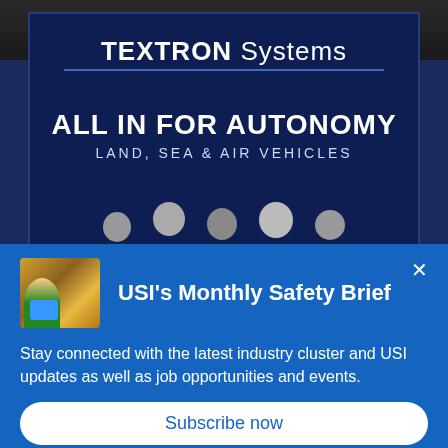[Figure (photo): Photo of a Textron Systems trade show booth with a large dark navy display reading 'TEXTRON Systems — ALL IN FOR AUTONOMY, LAND, SEA & AIR VEHICLES' with several people standing in front. The booth is in a large exhibition hall.]
USI's Monthly Safety Brief
Stay connected with the latest industry cluster and USI updates as well as job opportunities and events.
Subscribe now